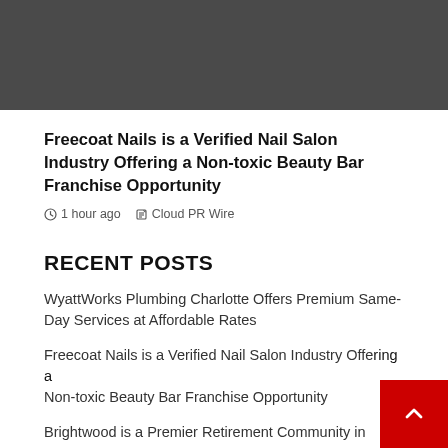[Figure (other): Dark gray banner image at top of page]
Freecoat Nails is a Verified Nail Salon Industry Offering a Non-toxic Beauty Bar Franchise Opportunity
1 hour ago  Cloud PR Wire
RECENT POSTS
WyattWorks Plumbing Charlotte Offers Premium Same-Day Services at Affordable Rates
Freecoat Nails is a Verified Nail Salon Industry Offering a Non-toxic Beauty Bar Franchise Opportunity
Brightwood is a Premier Retirement Community in